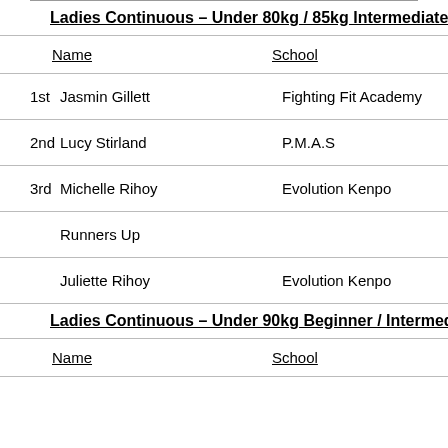Ladies Continuous – Under 80kg / 85kg Intermediate / Ac
|  | Name | School |
| --- | --- | --- |
| 1st | Jasmin Gillett | Fighting Fit Academy |
| 2nd | Lucy Stirland | P.M.A.S |
| 3rd | Michelle Rihoy | Evolution Kenpo |
|  | Runners Up |  |
|  | Juliette Rihoy | Evolution Kenpo |
Ladies Continuous – Under 90kg Beginner / Intermediate/A
|  | Name | School |
| --- | --- | --- |